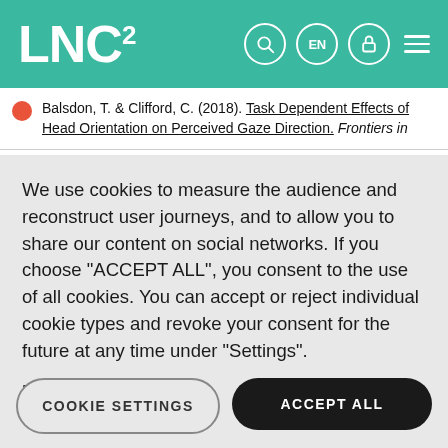LNC²
Balsdon, T. & Clifford, C. (2018). Task Dependent Effects of Head Orientation on Perceived Gaze Direction. Frontiers in
We use cookies to measure the audience and reconstruct user journeys, and to allow you to share our content on social networks. If you choose "ACCEPT ALL", you consent to the use of all cookies. You can accept or reject individual cookie types and revoke your consent for the future at any time under "Settings".
Privacy policy
Cookie Policy